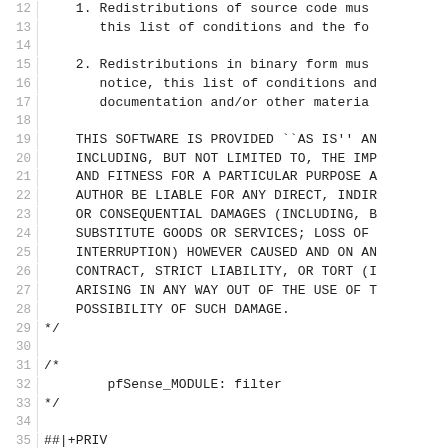Source code listing lines 12-42, showing BSD license text and pfSense module/privilege declarations
12:    1. Redistributions of source code must...
13:        this list of conditions and the fo...
14: (blank)
15:    2. Redistributions in binary form must...
16:        notice, this list of conditions and...
17:        documentation and/or other material...
18: (blank)
19:    THIS SOFTWARE IS PROVIDED ``AS IS'' AN...
20:    INCLUDING, BUT NOT LIMITED TO, THE IMP...
21:    AND FITNESS FOR A PARTICULAR PURPOSE A...
22:    AUTHOR BE LIABLE FOR ANY DIRECT, INDIR...
23:    OR CONSEQUENTIAL DAMAGES (INCLUDING, B...
24:    SUBSTITUTE GOODS OR SERVICES; LOSS OF ...
25:    INTERRUPTION) HOWEVER CAUSED AND ON AN...
26:    CONTRACT, STRICT LIABILITY, OR TORT (I...
27:    ARISING IN ANY WAY OUT OF THE USE OF T...
28:    POSSIBILITY OF SUCH DAMAGE.
29: */
30: (blank)
31: /*
32:         pfSense_MODULE: filter
33: */
34: (blank)
35: ##|+PRIV
36: ##|*IDENT=page-diagnostics-system-pftop
37: ##|*NAME=Diagnostics: pfTop
38: ##|*DESCR=Allows access to the 'Diagnostics: p...
39: ##|*MATCH=diag_system_pftop.php*
40: ##|-PRIV
41: (blank)
42: require("guiconfig.inc");